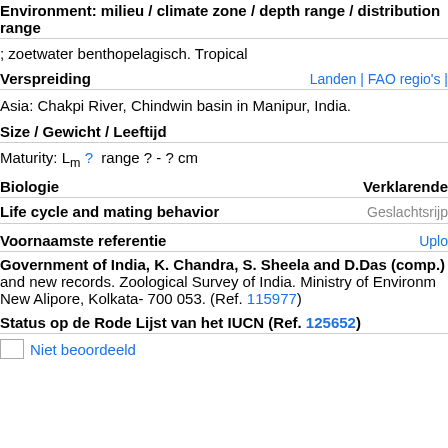Environment: milieu / climate zone / depth range / distribution range
; zoetwater benthopelagisch. Tropical
Verspreiding
Asia: Chakpi River, Chindwin basin in Manipur, India.
Size / Gewicht / Leeftijd
Maturity: Lm ?  range ? - ? cm
Biologie
Life cycle and mating behavior
Voornaamste referentie
Government of India, K. Chandra, S. Sheela and D.Das (comp.) and new records. Zoological Survey of India. Ministry of Environm New Alipore, Kolkata- 700 053. (Ref. 115977)
Status op de Rode Lijst van het IUCN (Ref. 125652)
Niet beoordeeld